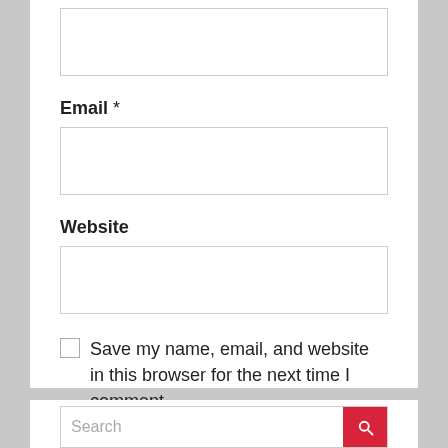[empty text input box at top]
Email *
[empty email input box]
Website
[empty website input box]
Save my name, email, and website in this browser for the next time I comment.
Post Comment
Search